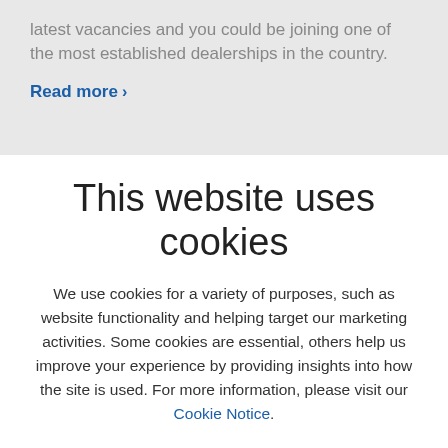latest vacancies and you could be joining one of the most established dealerships in the country.
Read more >
This website uses cookies
We use cookies for a variety of purposes, such as website functionality and helping target our marketing activities. Some cookies are essential, others help us improve your experience by providing insights into how the site is used. For more information, please visit our Cookie Notice.
Accept all
Change settings